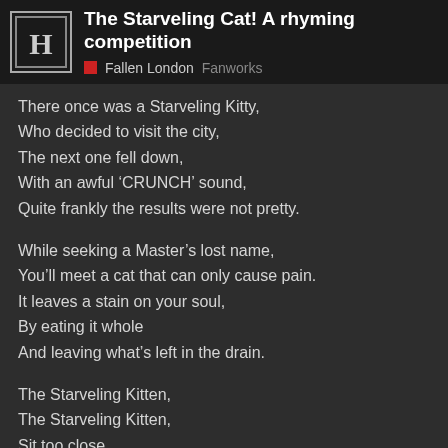The Starveling Cat! A rhyming competition — Fallen London Fanworks
There once was a Starveling Kitty,
Who decided to visit the city,
The next one fell down,
With an awful ‘CRUNCH’ sound,
Quite frankly the results were not pretty.
While seeking a Master’s lost name,
You’ll meet a cat that can only cause pain.
It leaves a stain on your soul,
By eating it whole
And leaving what’s left in the drain.
The Starveling Kitten,
The Starveling Kitten,
Sit too close,
And you’re bound to get bitten.
The Starveling Cat is a ravenous beast,
Give it your soul and allow it to feast.
16 / 28